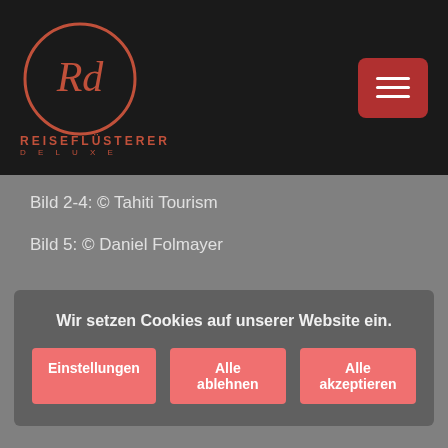Reiseflüsterer Deluxe — logo and navigation
Bild 2-4: © Tahiti Tourism
Bild 5: © Daniel Folmayer
Wir setzen Cookies auf unserer Website ein.
Einstellungen | Alle ablehnen | Alle akzeptieren
Bild 29: © Kraft, Barbara
Bild 30: © de Rosemont, Moeava
Bild 31: © Sinal, John
Bild 32: © Vitale, Peter